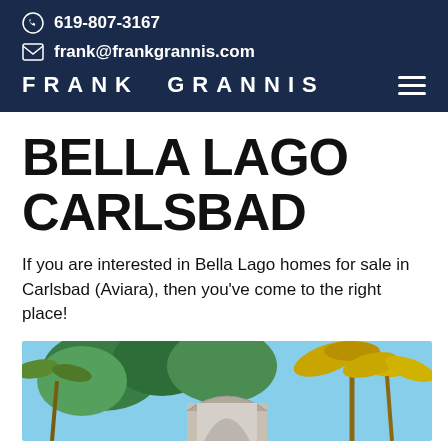619-807-3167
frank@frankgrannis.com
FRANK GRANNIS
BELLA LAGO CARLSBAD
If you are interested in Bella Lago homes for sale in Carlsbad (Aviara), then you've come to the right place!
[Figure (photo): Outdoor photo showing tropical palm trees, green trees against a blue sky, with a stone archway structure visible at the bottom center.]